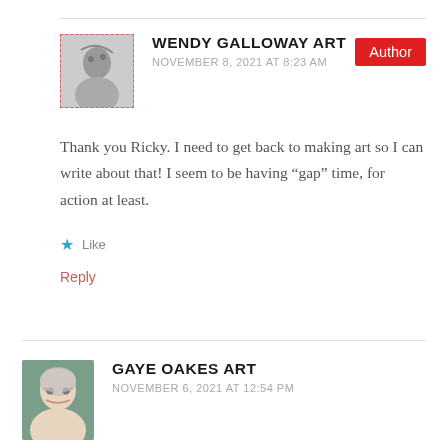WENDY GALLOWAY ART
NOVEMBER 8, 2021 AT 8:23 AM
Author
Thank you Ricky. I need to get back to making art so I can write about that! I seem to be having “gap” time, for action at least.
★ Like
Reply
GAYE OAKES ART
NOVEMBER 6, 2021 AT 12:54 PM